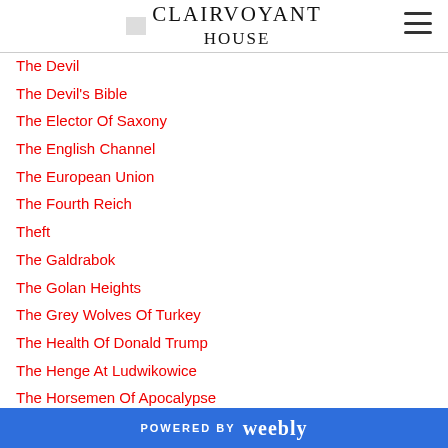CLAIRVOYANT HOUSE
The Devil
The Devil's Bible
The Elector Of Saxony
The English Channel
The European Union
The Fourth Reich
Theft
The Galdrabok
The Golan Heights
The Grey Wolves Of Turkey
The Health Of Donald Trump
The Henge At Ludwikowice
The Horsemen Of Apocalypse
The House Of Representatives
The Jewel Room At The Green Vault
POWERED BY weebly